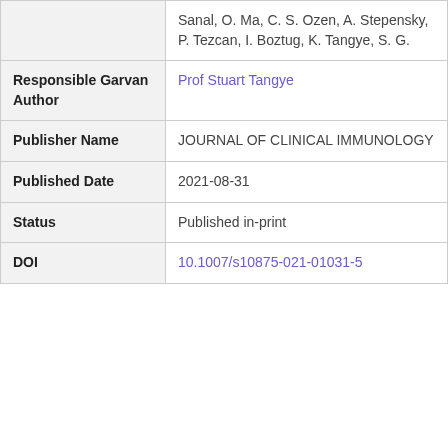| Field | Value |
| --- | --- |
|  | Sanal, O. Ma, C. S. Ozen, A. Stepensky, P. Tezcan, I. Boztug, K. Tangye, S. G. |
| Responsible Garvan Author | Prof Stuart Tangye |
| Publisher Name | JOURNAL OF CLINICAL IMMUNOLOGY |
| Published Date | 2021-08-31 |
| Status | Published in-print |
| DOI | 10.1007/s10875-021-01031-5 |